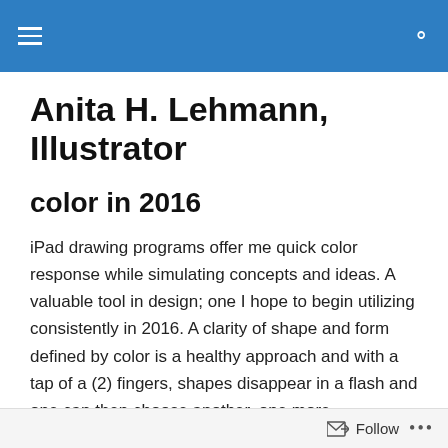Anita H. Lehmann, Illustrator
Anita H. Lehmann, Illustrator
color in 2016
iPad drawing programs offer me quick color response while simulating concepts and ideas. A valuable tool in design; one I hope to begin utilizing consistently in 2016. A clarity of shape and form defined by color is a healthy approach and with a tap of a (2) fingers, shapes disappear in a flash and one can then choose another, one more compatible; ‘that’s the one.’
Follow